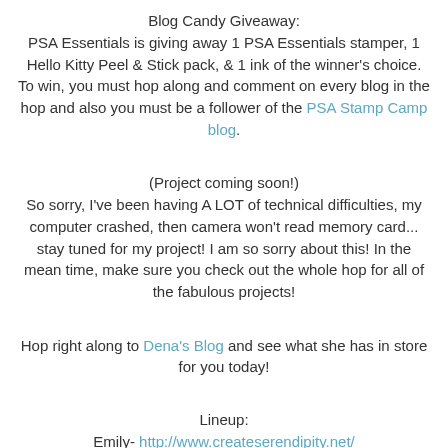Blog Candy Giveaway:
PSA Essentials is giving away 1 PSA Essentials stamper, 1 Hello Kitty Peel & Stick pack, & 1 ink of the winner's choice. To win, you must hop along and comment on every blog in the hop and also you must be a follower of the PSA Stamp Camp blog.
(Project coming soon!)
So sorry, I've been having A LOT of technical difficulties, my computer crashed, then camera won't read memory card... stay tuned for my project! I am so sorry about this! In the mean time, make sure you check out the whole hop for all of the fabulous projects!
Hop right along to Dena's Blog and see what she has in store for you today!
Lineup:
Emily- http://www.createserendipity.net/
Dena- http://missdjones.blogspot.com/
Lisa- http://handmadewithlove-lisa.blogspot.com/
Jessica- Continuing...